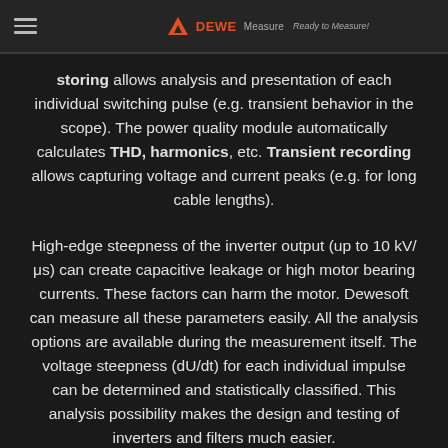Dewesoft — Ready to Measure!
storing allows analysis and presentation of each individual switching pulse (e.g. transient behavior in the scope). The power quality module automatically calculates THD, harmonics, etc. Transient recording allows capturing voltage and current peaks (e.g. for long cable lengths).
High-edge steepness of the inverter output (up to 10 kV/μs) can create capacitive leakage or high motor bearing currents. These factors can harm the motor. Dewesoft can measure all these parameters easily. All the analysis options are available during the measurement itself. The voltage steepness (dU/dt) for each individual impulse can be determined and statistically classified. This analysis possibility makes the design and testing of inverters and filters much easier.